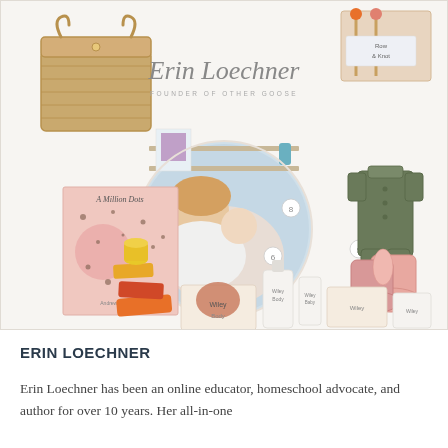[Figure (photo): Collage image featuring Erin Loechner surrounded by curated products: wicker basket (top left), knitting needles (top right), book 'A Million Dots' (8), circular portrait photo of Erin Loechner holding a child, olive green jumper (4), colorful wooden stacking blocks (7), pink chelsea boots (5), Wiley Body products set (6). Handwritten-style name 'Erin Loechner' with 'FOUNDER OF OTHER GOOSE' subtitle overlaid.]
ERIN LOECHNER
Erin Loechner has been an online educator, homeschool advocate, and author for over 10 years. Her all-in-one